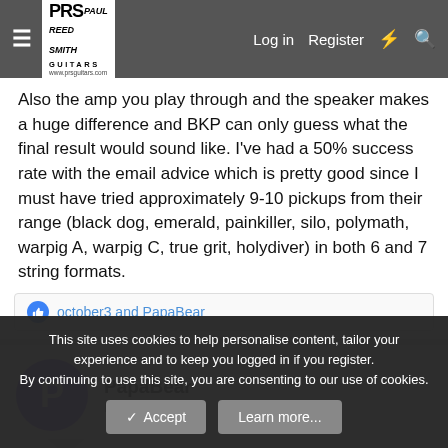PRS Guitars forum header with Log in, Register, and search icons
Also the amp you play through and the speaker makes a huge difference and BKP can only guess what the final result would sound like. I've had a 50% success rate with the email advice which is pretty good since I must have tried approximately 9-10 pickups from their range (black dog, emerald, painkiller, silo, polymath, warpig A, warpig C, true grit, holydiver) in both 6 and 7 string formats.
october3 and PapaBear
PapaBear
New Member
Nov 12, 2021
#30
This site uses cookies to help personalise content, tailor your experience and to keep you logged in if you register.
By continuing to use this site, you are consenting to our use of cookies.